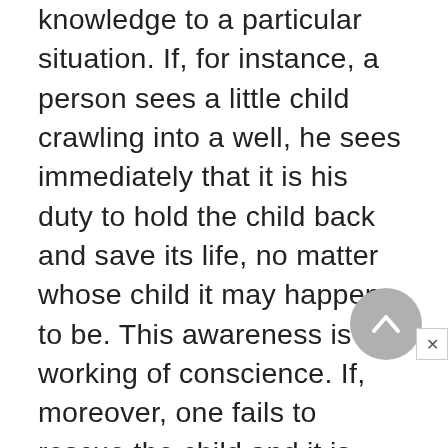knowledge to a particular situation. If, for instance, a person sees a little child crawling into a well, he sees immediately that it is his duty to hold the child back and save its life, no matter whose child it may happen to be. This awareness is the working of conscience. If, moreover, one fails to rescue the child and it is drowned in the well, he feels remorse. This, too, is the working of conscience, which, having given the command in the first instance, applies its sanction for failure